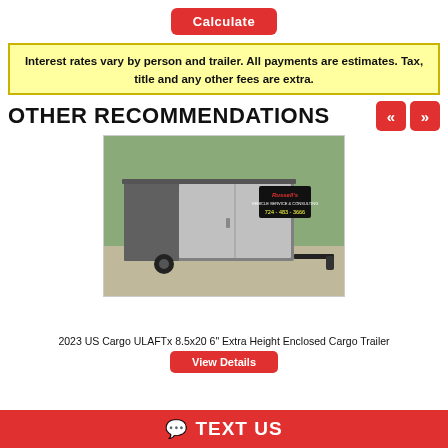Calculate
Interest rates vary by person and trailer. All payments are estimates. Tax, title and any other fees are extra.
OTHER RECOMMENDATIONS
[Figure (photo): Photo of a 2023 US Cargo ULAFTx 8.5x20 6" Extra Height Enclosed Cargo Trailer, dark gray, parked on a concrete pad with trees in background. Russell's dealer logo in top right corner showing phone number 724-483-3666.]
2023 US Cargo ULAFTx 8.5x20 6" Extra Height Enclosed Cargo Trailer
View Details
TEXT US